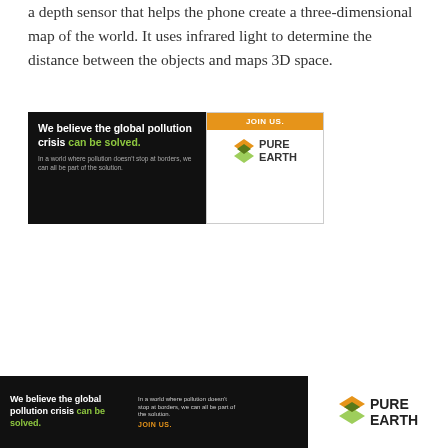a depth sensor that helps the phone create a three-dimensional map of the world. It uses infrared light to determine the distance between the objects and maps 3D space.
[Figure (other): Pure Earth advertisement banner: black left panel with text 'We believe the global pollution crisis can be solved.' and subtext 'In a world where pollution doesn't stop at borders, we can all be part of the solution.' Right panel shows orange JOIN US button and Pure Earth logo with diamond icon.]
DYNAMIC RANGE
[Figure (other): Pure Earth advertisement banner (bottom of page, wider): black left panel with 'We believe the global pollution crisis can be solved.' and 'In a world where pollution doesn't stop at borders, we can all be part of the solution. JOIN US.' Right panel shows Pure Earth diamond logo and text.]